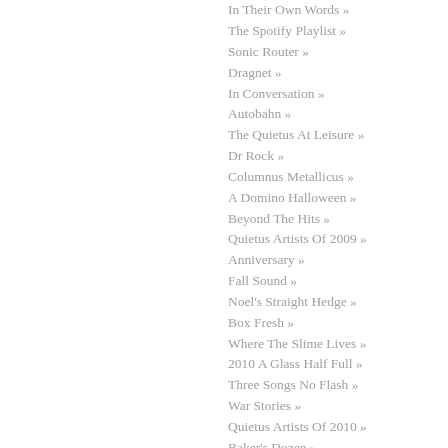In Their Own Words »
The Spotify Playlist »
Sonic Router »
Dragnet »
In Conversation »
Autobahn »
The Quietus At Leisure »
Dr Rock »
Columnus Metallicus »
A Domino Halloween »
Beyond The Hits »
Quietus Artists Of 2009 »
Anniversary »
Fall Sound »
Noel's Straight Hedge »
Box Fresh »
Where The Slime Lives »
2010 A Glass Half Full »
Three Songs No Flash »
War Stories »
Quietus Artists Of 2010 »
Baker's Dozen »
Coast To Coast »
Rockfort »
Ten Songs »
An Eastern Spring »
Rum Music »
Quietus Mixes & Radio »
Hyperspecific »
A New Nineties »